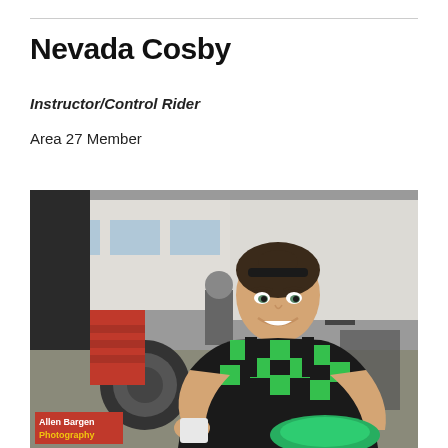Nevada Cosby
Instructor/Control Rider
Area 27 Member
[Figure (photo): Woman in black and green checkered tank top smiling at camera, seated outdoors at what appears to be a motorsport event with trailers and equipment in background. Photo credit: Allen Bargen Photography.]